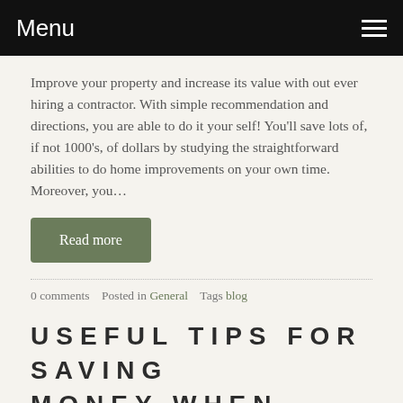Menu
Improve your property and increase its value with out ever hiring a contractor. With simple recommendation and directions, you are able to do it your self! You'll save lots of, if not 1000's, of dollars by studying the straightforward abilities to do home improvements on your own time. Moreover, you…
Read more
0 comments   Posted in General   Tags blog
USEFUL TIPS FOR SAVING MONEY WHEN SHOPPING ONLINE